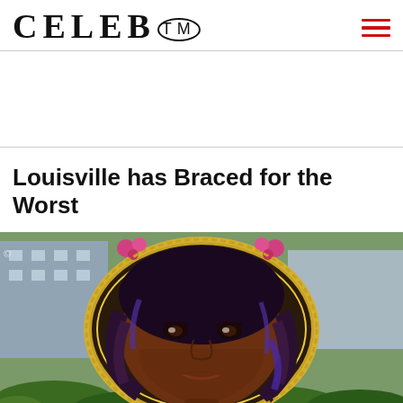CELEB™
[Figure (photo): A large outdoor mural of a Black woman with dark hair, decorated with a golden ornate frame with pink roses. The mural appears to be of Breonna Taylor, displayed outdoors in front of a building with greenery around it.]
Louisville has Braced for the Worst